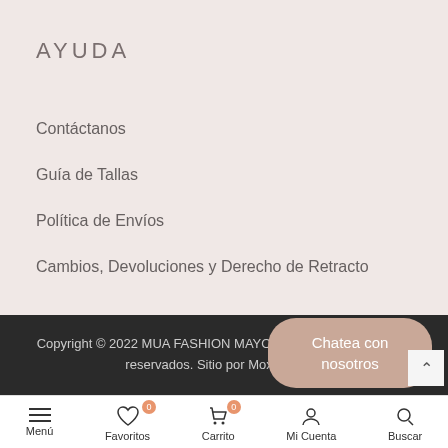AYUDA
Contáctanos
Guía de Tallas
Política de Envíos
Cambios, Devoluciones y Derecho de Retracto
Copyright © 2022 MUA FASHION MAYORCA S.A.S Todos los derechos reservados. Sitio por Moxie Digital
[Figure (screenshot): Bottom navigation bar with Menú, Favoritos (badge 0), Carrito (badge 0), Mi Cuenta, Buscar icons, and Chatea con nosotros chat bubble overlay]